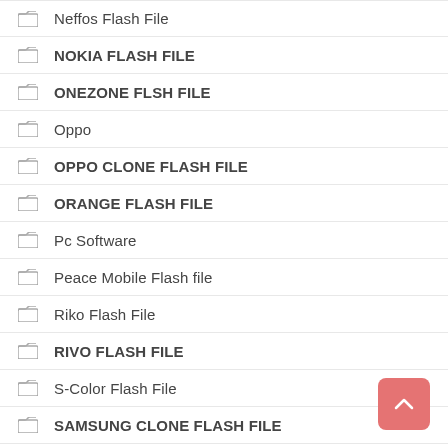Neffos Flash File
NOKIA FLASH FILE
ONEZONE FLSH FILE
Oppo
OPPO CLONE FLASH FILE
ORANGE FLASH FILE
Pc Software
Peace Mobile Flash file
Riko Flash File
RIVO FLASH FILE
S-Color Flash File
SAMSUNG CLONE FLASH FILE
Samsung Flash File
SAMSUNG ROOT & CRT
SMILE FLASH FILE